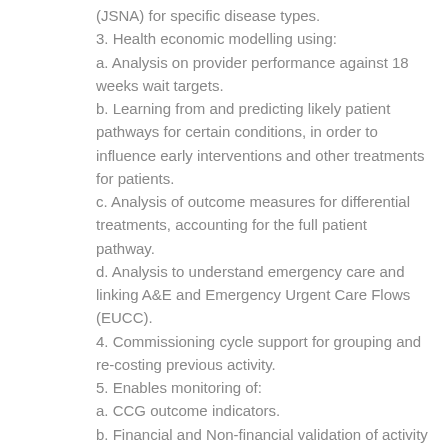(JSNA) for specific disease types.
3. Health economic modelling using:
a. Analysis on provider performance against 18 weeks wait targets.
b. Learning from and predicting likely patient pathways for certain conditions, in order to influence early interventions and other treatments for patients.
c. Analysis of outcome measures for differential treatments, accounting for the full patient pathway.
d. Analysis to understand emergency care and linking A&E and Emergency Urgent Care Flows (EUCC).
4. Commissioning cycle support for grouping and re-costing previous activity.
5. Enables monitoring of:
a. CCG outcome indicators.
b. Financial and Non-financial validation of activity